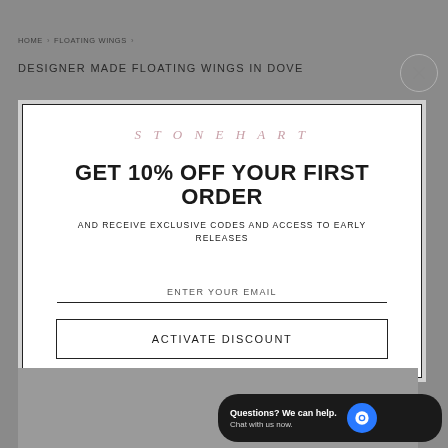HOME › FLOATING WINGS ›
DESIGNER MADE FLOATING WINGS IN DOVE
[Figure (screenshot): Modal popup with STONEHART brand logo, discount offer, email input, and activate discount button]
Questions? We can help. Chat with us now.